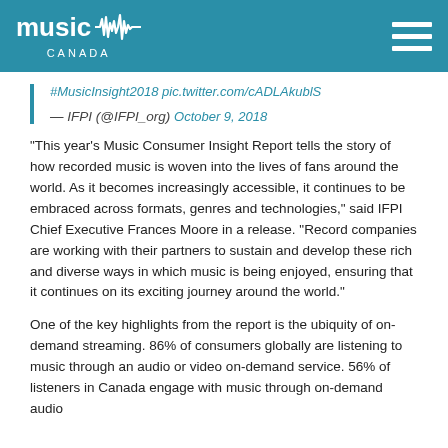[Figure (logo): Music Canada logo with waveform graphic on teal header bar with hamburger menu icon]
#MusicInsight2018 pic.twitter.com/cADLAkublS
— IFPI (@IFPI_org) October 9, 2018
“This year’s Music Consumer Insight Report tells the story of how recorded music is woven into the lives of fans around the world. As it becomes increasingly accessible, it continues to be embraced across formats, genres and technologies,” said IFPI Chief Executive Frances Moore in a release. “Record companies are working with their partners to sustain and develop these rich and diverse ways in which music is being enjoyed, ensuring that it continues on its exciting journey around the world.”
One of the key highlights from the report is the ubiquity of on-demand streaming. 86% of consumers globally are listening to music through an audio or video on-demand service. 56% of listeners in Canada engage with music through on-demand audio